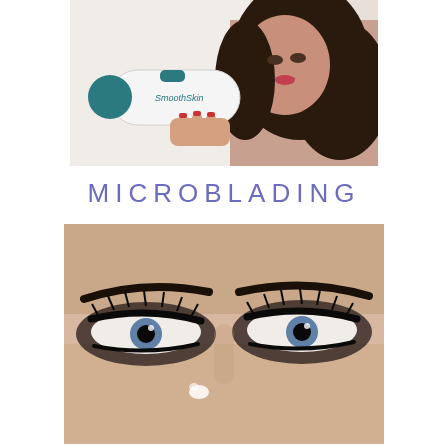[Figure (photo): A smiling woman with dark wavy hair holding a white handheld laser or beauty device with teal accents (labeled 'SmoothSkin') up to her cheek, posed against a white background.]
MICROBLADING
[Figure (photo): Close-up of a woman's eyes with blue irises, dramatic dark smoky eye makeup, long black lashes, and well-defined dark eyebrows (illustrating microblading results), with a light teardrop-like highlight on her cheekbone.]